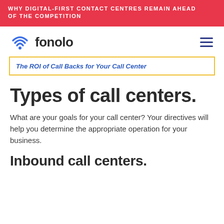WHY DIGITAL-FIRST CONTACT CENTRES REMAIN AHEAD OF THE COMPETITION
[Figure (logo): Fonolo logo with WiFi/pin icon in blue and the word 'fonolo' in dark text]
The ROI of Call Backs for Your Call Center
Types of call centers.
What are your goals for your call center? Your directives will help you determine the appropriate operation for your business.
Inbound call centers.